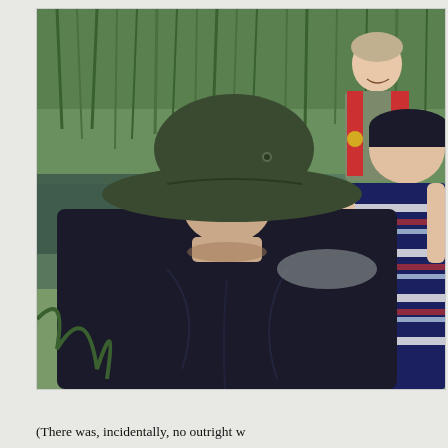[Figure (photo): Outdoor photograph near a river or canal. In the foreground, a man seen from behind wearing a dark navy/black t-shirt and a wide-brimmed olive/dark green hat. To his right, another man in a navy and white striped shirt with short sleeves and a dark cap. In the background, a third man standing wearing a red life vest over a grey-green shirt. The background shows green reeds, calm water reflecting the vegetation.]
(There was, incidentally, no outright w